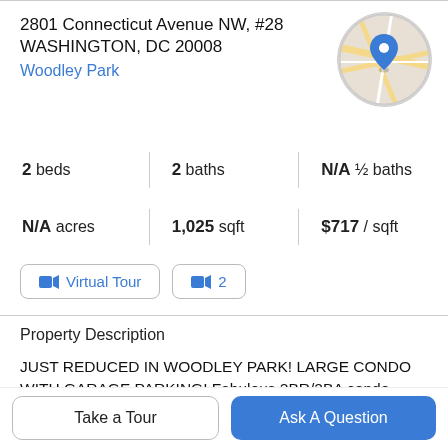2801 Connecticut Avenue NW, #28
WASHINGTON, DC 20008
Woodley Park
[Figure (map): Circular map thumbnail showing street map with a blue location pin marker in Woodley Park area, Washington DC]
| 2 beds | 2 baths | N/A ½ baths |
| N/A acres | 1,025 sqft | $717 / sqft |
[Figure (other): Virtual Tour button with video camera icon]
[Figure (other): Video button with camera icon and number 2]
Property Description
JUST REDUCED IN WOODLEY PARK! LARGE CONDO WITH GARAGE PARKING! Fabulous 2BR/2BA condo situated in lovely Woodley Park! The building has a welcoming entry with seasonal flowers and a courtyard
Take a Tour
Ask A Question